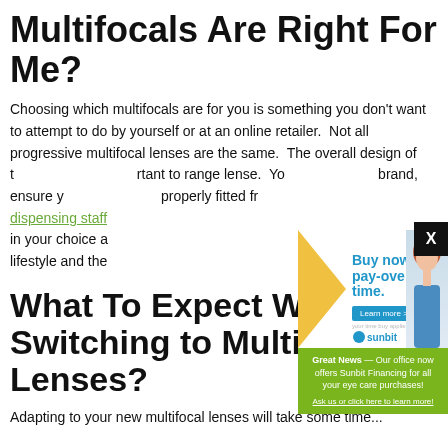Multifocals Are Right For Me?
Choosing which multifocals are for you is something you don't want to attempt to do by yourself or at an online retailer.  Not all progressive multifocal lenses are the same.  The overall design of the lens so it is important to range lense.  You brand, ensure you properly fitted fra dispensing staff in your choice a lifestyle and the
[Figure (infographic): Advertisement popup overlay with green background. Shows a 'Buy now, pay-over-time.' ad for Sunbit financing with a woman smiling. Text reads: Great News — Our office now offers Sunbit Financing for all your eye care purchases! Ask us or click here to learn more!]
What To Expect When Switching to Multifocal Lenses?
Adapting to your new multifocal lenses will take some time...